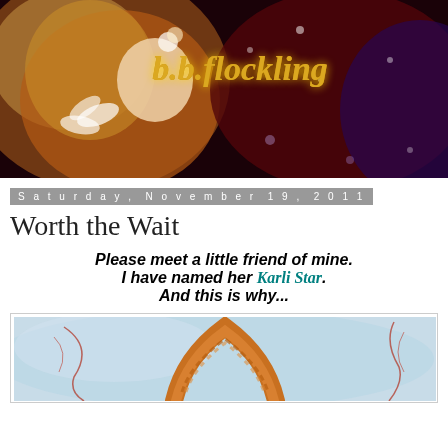[Figure (illustration): Blog header banner showing a fantasy doll with auburn hair and flower, with glowing magical background. Text reads 'b.b.flockling' in gold script on dark red/purple background with sparkles.]
Saturday, November 19, 2011
Worth the Wait
Please meet a little friend of mine.
I have named her Karli Star.
And this is why...
[Figure (photo): Close-up photo showing an orange braid or braided hair form against a light blue/watercolor background with red wire or branch elements.]